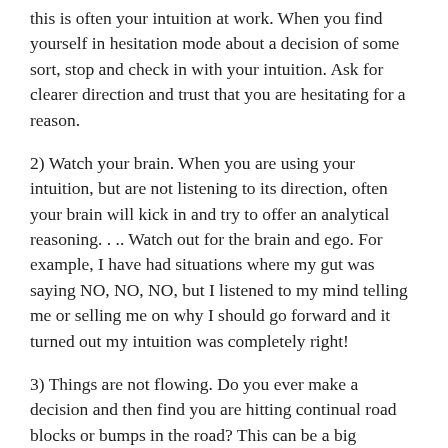this is often your intuition at work. When you find yourself in hesitation mode about a decision of some sort, stop and check in with your intuition. Ask for clearer direction and trust that you are hesitating for a reason.
2) Watch your brain. When you are using your intuition, but are not listening to its direction, often your brain will kick in and try to offer an analytical reasoning. . .. Watch out for the brain and ego. For example, I have had situations where my gut was saying NO, NO, NO, but I listened to my mind telling me or selling me on why I should go forward and it turned out my intuition was completely right!
3) Things are not flowing. Do you ever make a decision and then find you are hitting continual road blocks or bumps in the road? This can be a big indication of not flowing with your intuitive road and decision making. When there is resistance, there is a reason. Once again check in with your intuition and